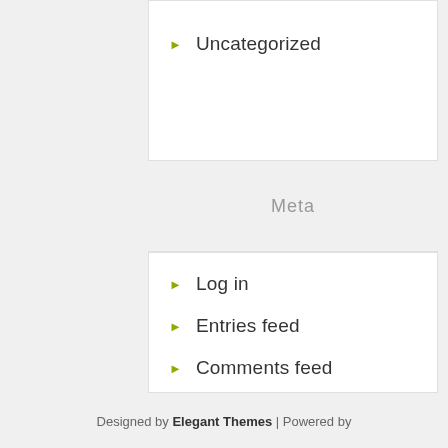Uncategorized
Meta
Log in
Entries feed
Comments feed
WordPress.org
Designed by Elegant Themes | Powered by